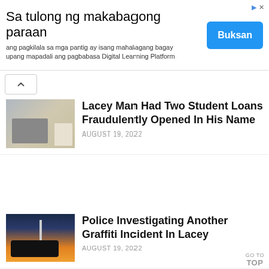[Figure (other): Advertisement banner with text in Filipino: 'Sa tulong ng makabagong paraan' and subtitle 'ang pagkilala sa mga pantig ay isang mahalagang bagay upang mapadali ang pagbabasa Digital Learning Platform' with a blue 'Buksan' button]
Lacey Man Had Two Student Loans Fraudulently Opened In His Name
AUGUST 19, 2022
Police Investigating Another Graffiti Incident In Lacey
AUGUST 19, 2022
CHART Announces 2022 – 2023 Board Of Directors
AUGUST 19, 2022